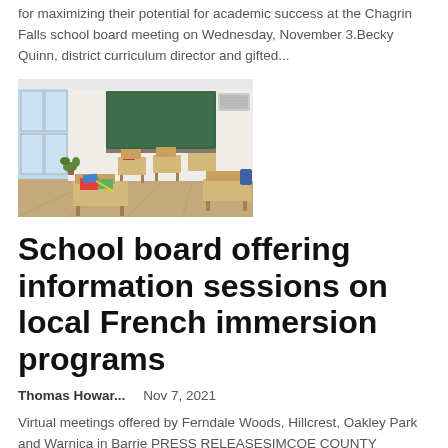for maximizing their potential for academic success at the Chagrin Falls school board meeting on Wednesday, November 3.Becky Quinn, district curriculum director and gifted...
[Figure (photo): Interior photograph of an empty classroom with rows of wooden desks and chairs, a green chalkboard at the front, windows on the left side, and a wall-mounted air conditioning unit.]
School board offering information sessions on local French immersion programs
Thomas Howar...    Nov 7, 2021
Virtual meetings offered by Ferndale Woods, Hillcrest, Oakley Park and Warnica in Barrie PRESS RELEASESIMCOE COUNTY DISTRICT